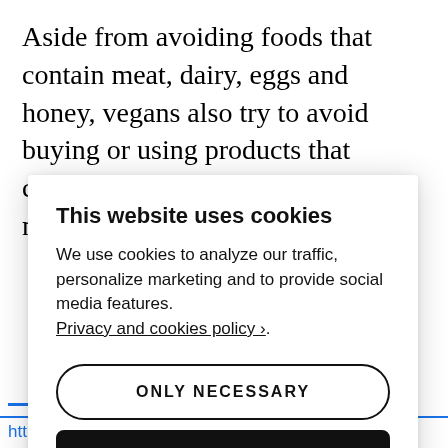Aside from avoiding foods that contain meat, dairy, eggs and honey, vegans also try to avoid buying or using products that contain animal ingredients, materials that have been derived
This website uses cookies
We use cookies to analyze our traffic, personalize marketing and to provide social media features. Privacy and cookies policy ›.
ONLY NECESSARY
ALLOW ALL COOKIES
CONFIGURE SETTINGS ›
https://www.cnet.com/health/nutrition/vegan